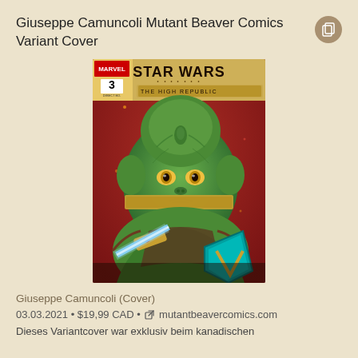Giuseppe Camuncoli Mutant Beaver Comics Variant Cover
[Figure (illustration): Star Wars: The High Republic #3 comic book cover variant by Giuseppe Camuncoli, published by Marvel. Features a green reptilian alien Jedi wielding a blue lightsaber and holding a teal Mandalorian shield against a red background. The cover has a gold banner with 'STAR WARS THE HIGH REPUBLIC' text and the Marvel logo with issue number 3 in the top left.]
Giuseppe Camuncoli (Cover)
03.03.2021 • $19,99 CAD • mutantbeavercomics.com
Dieses Variantcover war exklusiv beim kanadischen